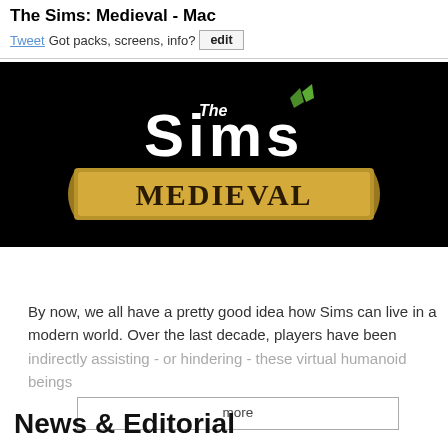The Sims: Medieval - Mac
Tweet Got packs, screens, info? edit
[Figure (photo): The Sims Medieval game logo on black background, showing 'The Sims' text in white above 'MEDIEVAL' in gold/brown ornate lettering with decorative scroll banner]
Summary
By now, we all have a pretty good idea how Sims can live in a modern world. Over the last decade, players have been indirectly assisting - or hindering - these virtual humanoid beings
more
News & Editorial